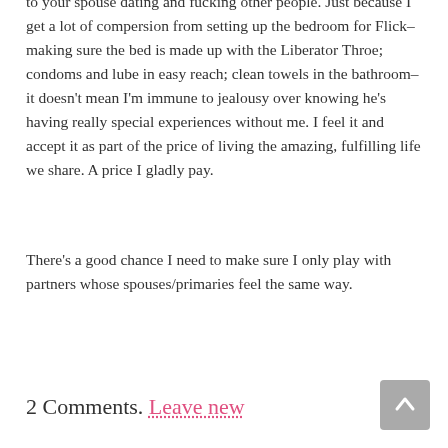to your spouse dating and fucking other people. Just because I get a lot of compersion from setting up the bedroom for Flick–making sure the bed is made up with the Liberator Throe; condoms and lube in easy reach; clean towels in the bathroom–it doesn't mean I'm immune to jealousy over knowing he's having really special experiences without me. I feel it and accept it as part of the price of living the amazing, fulfilling life we share. A price I gladly pay.
There's a good chance I need to make sure I only play with partners whose spouses/primaries feel the same way.
2 Comments. Leave new